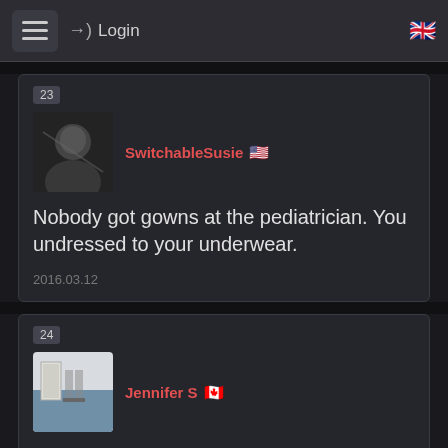Login
23
SwitchableSusie 🇺🇸
Nobody got gowns at the pediatrician. You undressed to your underwear.
2016.03.12
24
Jennifer S 🇨🇦
I never got a gown at the pediatrician and to my knowledge none of my friends did either, always just underwear. I think it's becoming